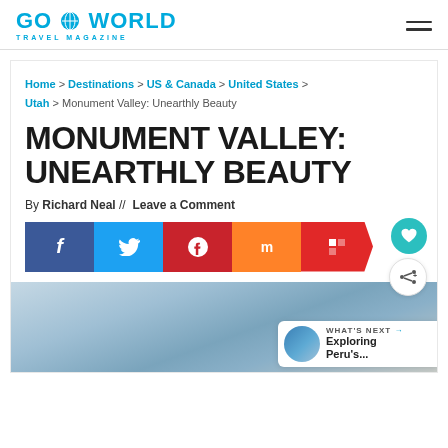Go World Travel Magazine
Home > Destinations > US & Canada > United States > Utah > Monument Valley: Unearthly Beauty
MONUMENT VALLEY: UNEARTHLY BEAUTY
By Richard Neal //  Leave a Comment
[Figure (other): Social sharing buttons: Facebook, Twitter, Pinterest, Mix, Flipboard with floating heart and share icons]
[Figure (photo): Landscape photo of Monument Valley with hazy sky, with a What's Next panel showing Exploring Peru's...]